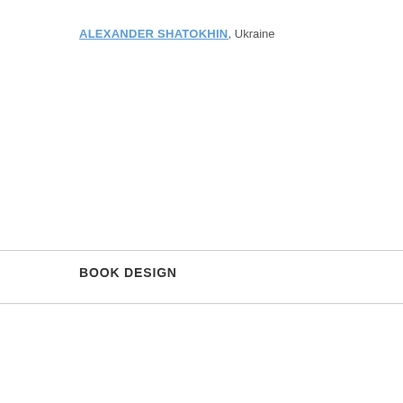ALEXANDER SHATOKHIN, Ukraine
BOOK DESIGN
NATALIA VOLOSHINA, Ukraine